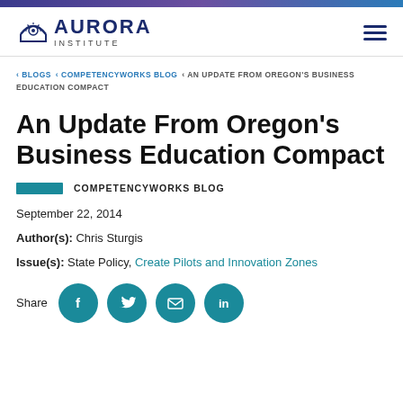Aurora Institute
< BLOGS < COMPETENCYWORKS BLOG < AN UPDATE FROM OREGON'S BUSINESS EDUCATION COMPACT
An Update From Oregon's Business Education Compact
COMPETENCYWORKS BLOG
September 22, 2014
Author(s): Chris Sturgis
Issue(s): State Policy, Create Pilots and Innovation Zones
Share